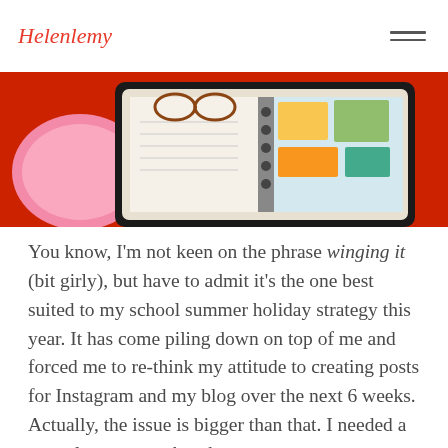Helen Perry [logo] with hamburger menu
[Figure (photo): Overhead photo of a notebook/planner with papers, stickers, glasses and a pink pouch on a red background]
You know, I'm not keen on the phrase winging it (bit girly), but have to admit it's the one best suited to my school summer holiday strategy this year. It has come piling down on top of me and forced me to re-think my attitude to creating posts for Instagram and my blog over the next 6 weeks. Actually, the issue is bigger than that. I needed a new plan anyway, but the extra summer squeeze on working hours has brought the matter to a